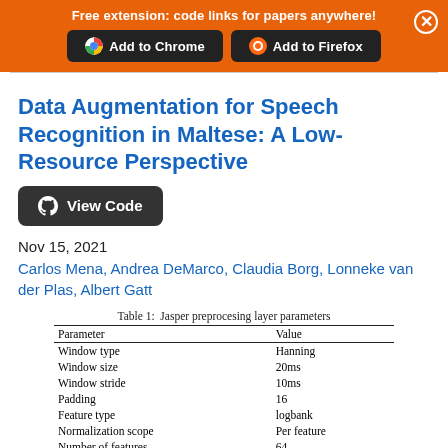Free extension: code links for papers anywhere!
Data Augmentation for Speech Recognition in Maltese: A Low-Resource Perspective
Nov 15, 2021
Carlos Mena, Andrea DeMarco, Claudia Borg, Lonneke van der Plas, Albert Gatt
Table 1: Jasper preprocesing layer parameters
| Parameter | Value |
| --- | --- |
| Window type | Hanning |
| Window size | 20ms |
| Window stride | 10ms |
| Padding | 16 |
| Feature type | logbank |
| Normalization scope | Per feature |
| Number of features | 64 |